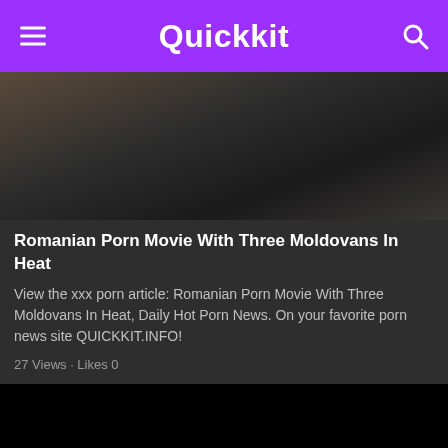Quickkit
[Figure (photo): Thumbnail image for a video article]
Romanian Porn Movie With Three Moldovans In Heat
View the xxx porn article: Romanian Porn Movie With Three Moldovans In Heat, Daily Hot Porn News. On your favorite porn news site QUICKKIT.INFO!
27 Views · Likes 0
[Figure (photo): Black video player area]